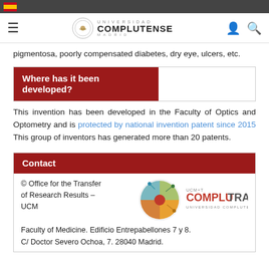Universidad Complutense Madrid header navigation
pigmentosa, poorly compensated diabetes, dry eye, ulcers, etc.
Where has it been developed?
This invention has been developed in the Faculty of Optics and Optometry and is protected by national invention patent since 2015 This group of inventors has generated more than 20 patents.
Contact
© Office for the Transfer of Research Results – UCM
Faculty of Medicine. Edificio Entrepabellones 7 y 8.
C/ Doctor Severo Ochoa, 7. 28040 Madrid.